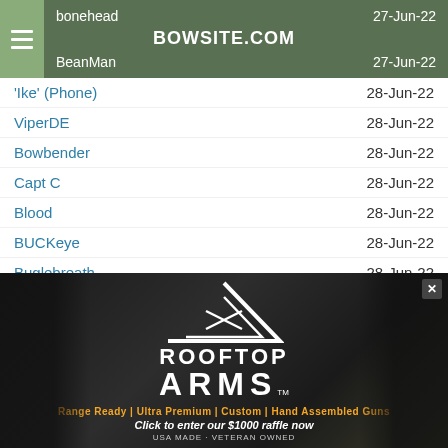BOWSITE.COM
bonehead    27-Jun-22
BeanMan    27-Jun-22
'Ike' (Phone)    28-Jun-22
ViperDE    28-Jun-22
Bowbender    28-Jun-22
Capt C    28-Jun-22
Blood    28-Jun-22
BUCKeye    28-Jun-22
Buglebreath    28-Jun-22
Philbow    28-Jun-22
SIP    28-Jun-22
boobowmen    28-Jun-22
jwoolwy7mm    28-Jun-22
[Figure (photo): Rooftop Arms advertisement banner with logo, rifles, and text: Range Ready | Ultra Premium | Custom | Hand Assembled Guns. Click to enter our $1000 raffle now. USA MADE - VETERAN OWNED]